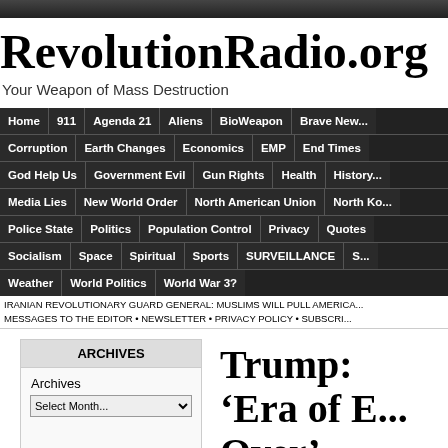RevolutionRadio.org
Your Weapon of Mass Destruction
[Figure (screenshot): Navigation menu bar with dark background containing links: Home, 911, Agenda 21, Aliens, BioWeapon, Brave New..., Corruption, Earth Changes, Economics, EMP, End Times, God Help Us, Government Evil, Gun Rights, Health, History, Media Lies, New World Order, North American Union, North Ko..., Police State, Politics, Population Control, Privacy, Quotes, Socialism, Space, Spiritual, Sports, SURVEILLANCE, S..., Weather, World Politics, World War 3?]
IRANIAN REVOLUTIONARY GUARD GENERAL: MUSLIMS WILL PULL AMERICA...
MESSAGES TO THE EDITOR • NEWSLETTER • PRIVACY POLICY • SUBSCRI...
ARCHIVES
Archives
Trump: 'Era of E... Over'